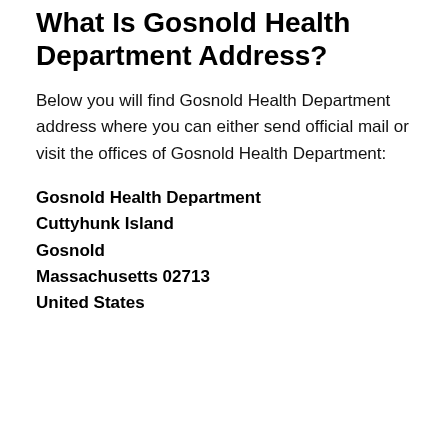What Is Gosnold Health Department Address?
Below you will find Gosnold Health Department address where you can either send official mail or visit the offices of Gosnold Health Department:
Gosnold Health Department
Cuttyhunk Island
Gosnold
Massachusetts 02713
United States